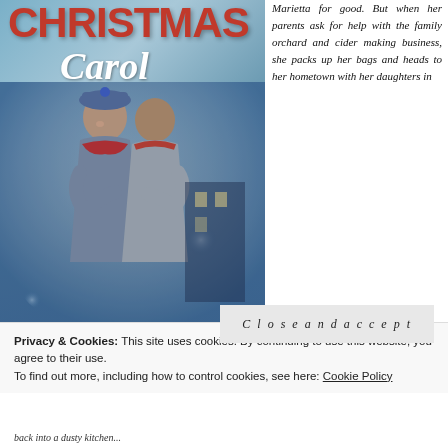[Figure (illustration): Book cover for 'Christmas Carol' showing a couple in winter clothing embracing and laughing outdoors against a bokeh light background. Title text 'CHRISTMAS' in bold red and 'Carol' in white italic script.]
Marietta for good. But when her parents ask for help with the family orchard and cider making business, she packs up her bags and heads to her hometown with her daughters in
Privacy & Cookies: This site uses cookies. By continuing to use this website, you agree to their use.
To find out more, including how to control cookies, see here: Cookie Policy
Close and accept
back into a dusty kitchen...